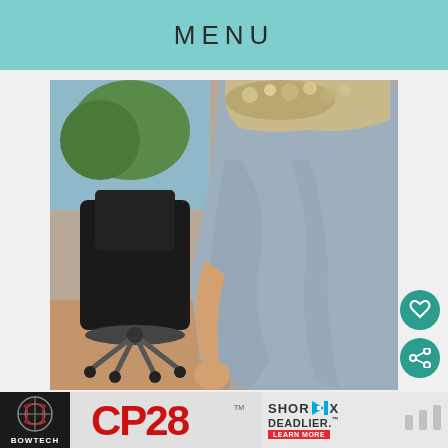MENU
[Figure (photo): Person wearing a light grey/silver sleeveless maxi dress with sequined/embellished neckline, standing in an office/room with a black office chair visible in the background.]
[Figure (photo): Advertisement banner: Bowtech CP28 bow - SHORTER. DEADLIER. with Learn More button]